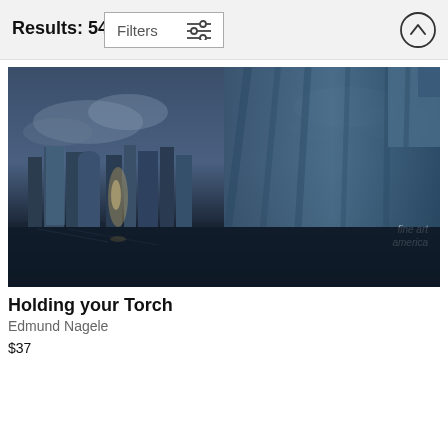Results: 54
Filters
[Figure (photo): Artistic composite photograph showing the Statue of Liberty (partially visible, showing body and raised arm area) alongside the New York City skyline with skyscrapers reflected in water, in dark blue/grey tones. Fine Art America watermark visible in lower right.]
Holding your Torch
Edmund Nagele
$37